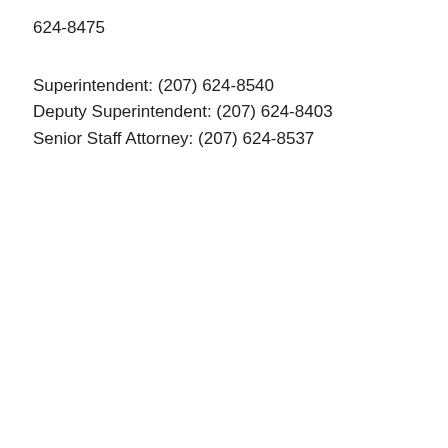624-8475
Superintendent: (207) 624-8540
Deputy Superintendent: (207) 624-8403
Senior Staff Attorney: (207) 624-8537